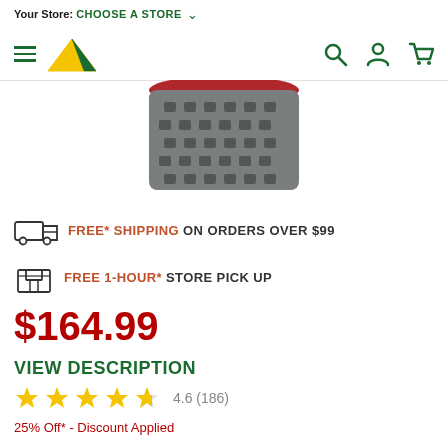Your Store: CHOOSE A STORE
[Figure (logo): Camping World tent logo - yellow and green tent shape]
[Figure (photo): Gray cylindrical camping stove/fuel canister product image, partially visible at top]
FREE* SHIPPING ON ORDERS OVER $99
FREE 1-HOUR* STORE PICK UP
$164.99
VIEW DESCRIPTION
4.6 (186)
25% Off* - Discount Applied